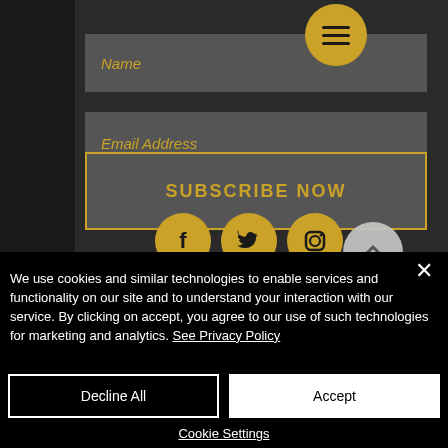[Figure (screenshot): Website subscription form with dark background. Contains a Name input field, Email Address input field, SUBSCRIBE NOW button with gold border, and three social media icons (Facebook, Twitter, Instagram) in gold circles. A gold circle menu icon is visible in the top right.]
We use cookies and similar technologies to enable services and functionality on our site and to understand your interaction with our service. By clicking on accept, you agree to our use of such technologies for marketing and analytics. See Privacy Policy
Decline All
Accept
Cookie Settings